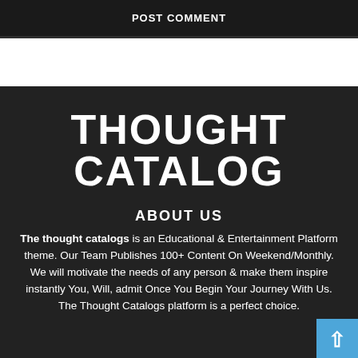POST COMMENT
THOUGHT CATALOG
ABOUT US
The thought catalogs is an Educational & Entertainment Platform theme. Our Team Publishes 100+ Content On Weekend/Monthly. We will motivate the needs of any person & make them inspire instantly You, Will, admit Once You Begin Your Journey With Us. The Thought Catalogs platform is a perfect choice.